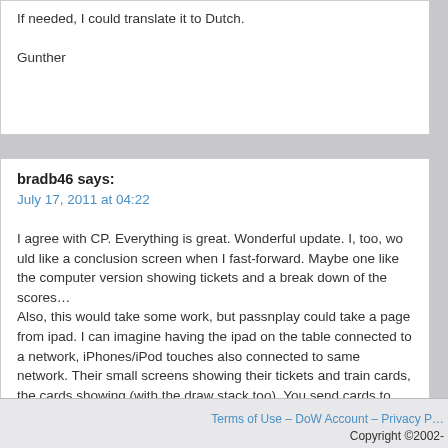If needed, I could translate it to Dutch.

Gunther
bradb46 says:
July 17, 2011 at 04:22

I agree with CP. Everything is great. Wonderful update. I, too, would like a conclusion screen when I fast-forward. Maybe one like the computer version showing tickets and a break down of the scores…
Also, this would take some work, but passnplay could take a page from ipad. I can imagine having the ipad on the table connected to a network, iPhones/iPod touches also connected to same network. Their small screens showing their tickets and train cards, the cards showing (with the draw stack too). You send cards to the ipad… You take you turn completely on your own… You purchase a route…
Terms of Use – DoW Account – Privacy P…
Copyright ©2002-